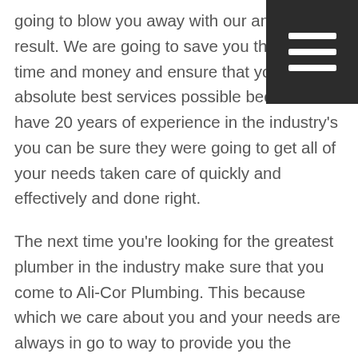going to blow you away with our amazing result. We are going to save you the most time and money and ensure that you get the absolute best services possible because we have 20 years of experience in the industry's you can be sure they were going to get all of your needs taken care of quickly and effectively and done right.
The next time you're looking for the greatest plumber in the industry make sure that you come to Ali-Cor Plumbing. This because which we care about you and your needs are always in go to way to provide you the absolute best solutions to those needs. All you need to do to get amazing services is to give us a call at plumbing number of the was a https://alicorplumbing.com/ going to get more